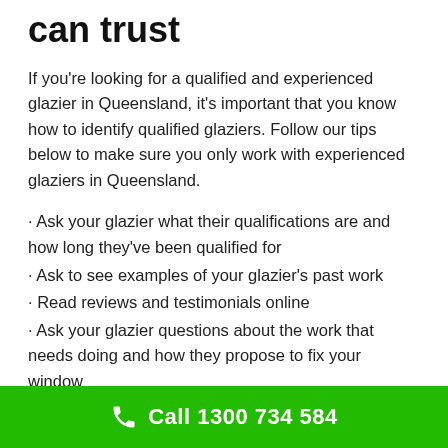can trust
If you're looking for a qualified and experienced glazier in Queensland, it's important that you know how to identify qualified glaziers. Follow our tips below to make sure you only work with experienced glaziers in Queensland.
· Ask your glazier what their qualifications are and how long they've been qualified for
· Ask to see examples of your glazier's past work
· Read reviews and testimonials online
· Ask your glazier questions about the work that needs doing and how they propose to fix your window
· Don't be afraid to shop around for multiple quotes and choose the glazier you feel most comfortable with
Call 1300 734 584